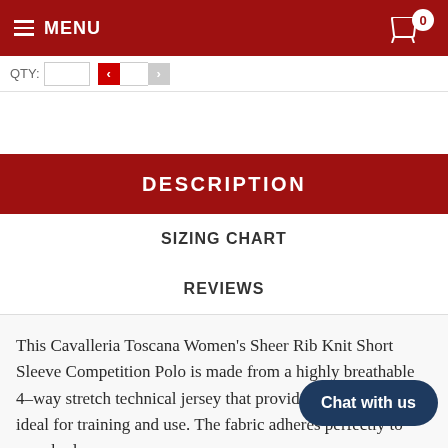MENU  0
DESCRIPTION
SIZING CHART
REVIEWS
This Cavalleria Toscana Women's Sheer Rib Knit Short Sleeve Competition Polo is made from a highly breathable 4-way stretch technical jersey that provides a properties, ideal for training and use. The fabric adheres perfectly to your body,